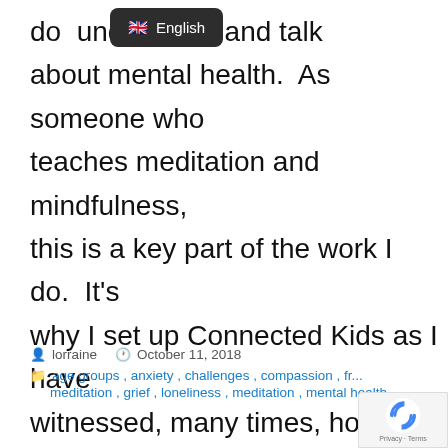[Figure (screenshot): Dark tooltip/dropdown showing UK flag emoji and 'English' text]
do understand and talk about mental health. As someone who teaches meditation and mindfulness, this is a key part of the work I do. It's why I set up Connected Kids as I have witnessed, many times, how teaching [...]
lorraine   October 11, 2018
age groups, anxiety, challenges, compassion, fr... meditation, grief, loneliness, meditation, mental health,